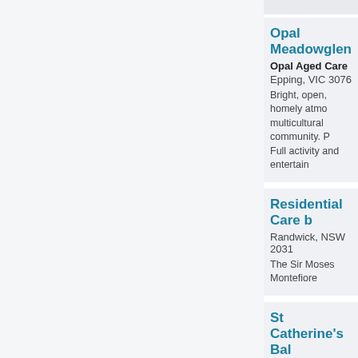Opal Meadowglen
Opal Aged Care
Epping, VIC 3076
Bright, open, homely atmo... multicultural community. P... Full activity and entertain...
Residential Care b...
Randwick, NSW 2031
The Sir Moses Montefiore...
St Catherine's Bal...
Villa Maria Catholic Hom...
Balwyn, VIC 3103
Living in the splendid gra... aged technology. The new rooms with ensuites, as w... care and service, in beau...
Russian Village
RusCare